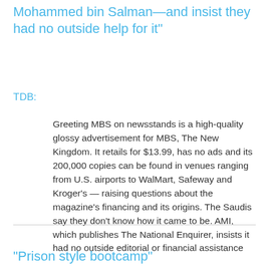Mohammed bin Salman—and insist they had no outside help for it"
TDB:
Greeting MBS on newsstands is a high-quality glossy advertisement for MBS, The New Kingdom. It retails for $13.99, has no ads and its 200,000 copies can be found in venues ranging from U.S. airports to WalMart, Safeway and Kroger's — raising questions about the magazine's financing and its origins. The Saudis say they don't know how it came to be. AMI, which publishes The National Enquirer, insists it had no outside editorial or financial assistance
"Prison style bootcamp"